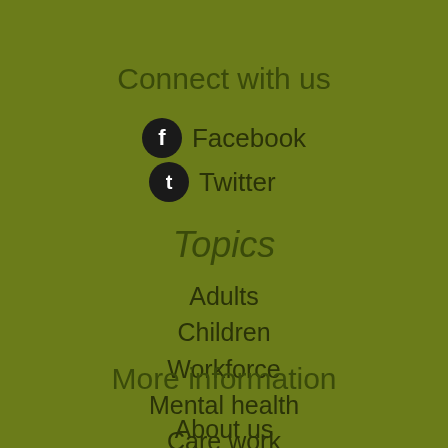Connect with us
Facebook
Twitter
Topics
Adults
Children
Workforce
Mental health
Care work
More information
About us